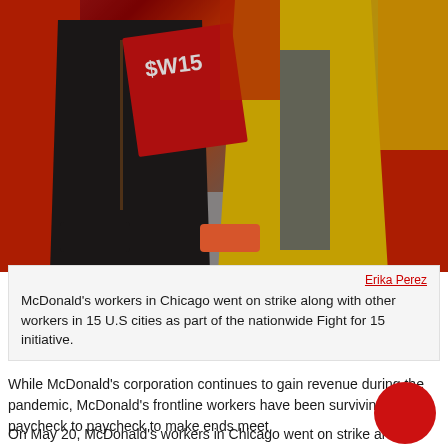[Figure (photo): Protest/strike scene showing workers in red and yellow shirts at a Fight for $15 rally, with a red sign reading '$W15' visible in the crowd on a city street.]
Erika Perez
McDonald's workers in Chicago went on strike along with other workers in 15 U.S cities as part of the nationwide Fight for 15 initiative.
While McDonald's corporation continues to gain revenue during the pandemic, McDonald's frontline workers have been surviving paycheck to paycheck to make ends meet.
On May 20, McDonald's workers in Chicago went on strike al with other workers in 15 U.S cities as part of the nationwide F